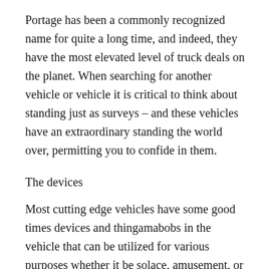Portage has been a commonly recognized name for quite a long time, and indeed, they have the most elevated level of truck deals on the planet. When searching for another vehicle or vehicle it is critical to think about standing just as surveys – and these vehicles have an extraordinary standing the world over, permitting you to confide in them.
The devices
Most cutting edge vehicles have some good times devices and thingamabobs in the vehicle that can be utilized for various purposes whether it be solace, amusement, or a less complex driving experience. In the same way as other brands